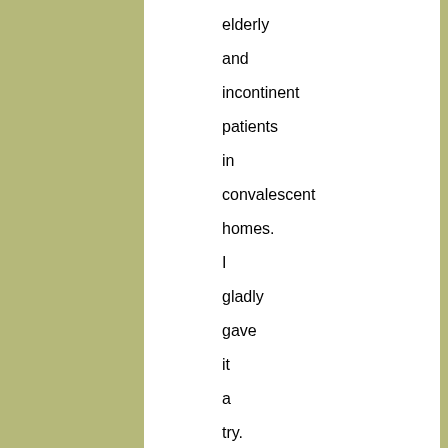elderly and incontinent patients in convalescent homes. I gladly gave it a try.

The crew had to get gas and attend to